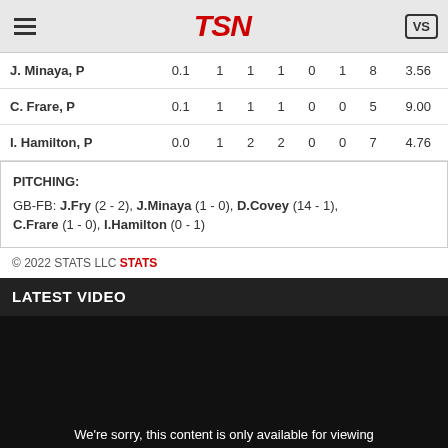TSN
| Player | IP | H | R | ER | BB | SO | Pitches | ERA |
| --- | --- | --- | --- | --- | --- | --- | --- | --- |
| J. Minaya, P | 0.1 | 1 | 1 | 1 | 0 | 1 | 8 | 3.56 |
| C. Frare, P | 0.1 | 1 | 1 | 1 | 0 | 0 | 5 | 9.00 |
| I. Hamilton, P | 0.0 | 1 | 2 | 2 | 0 | 0 | 7 | 4.76 |
PITCHING: GB-FB: J.Fry (2 - 2), J.Minaya (1 - 0), D.Covey (14 - 1), C.Frare (1 - 0), I.Hamilton (0 - 1)
© 2022 STATS LLC STATS
LATEST VIDEO
[Figure (other): Video player showing black screen with message: We're sorry, this content is only available for viewing in Canada. 72]